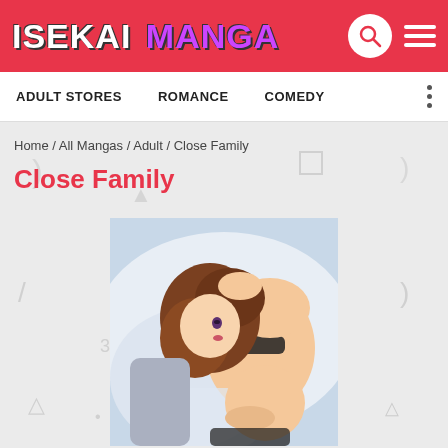ISEKAI MANGA
ADULT STORES   ROMANCE   COMEDY
Home / All Mangas / Adult / Close Family
Close Family
[Figure (illustration): Manga-style illustration of a woman with brown hair lying down, wearing a bra, on white bedding. Adult content cover art for 'Close Family'.]